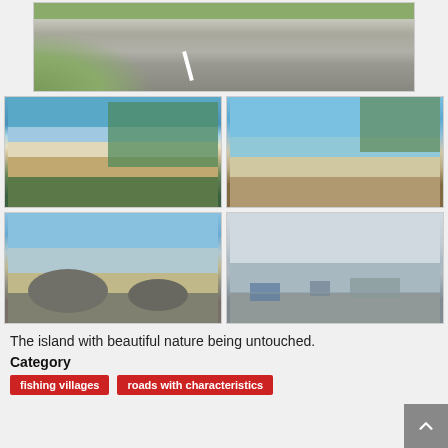[Figure (photo): A curved road with green vegetation on the side, asphalt surface visible]
[Figure (photo): A beach with turquoise water, white sand, and green tropical vegetation on rocky cliffs]
[Figure (photo): A sandy beach cove with rocky headland and clear blue sea under blue sky]
[Figure (photo): A rocky shoreline with boulders, sandy beach, and blue sky]
[Figure (photo): A harbor or port with boats and overcast sky]
The island with beautiful nature being untouched.
Category
fishing villages
roads with characteristics